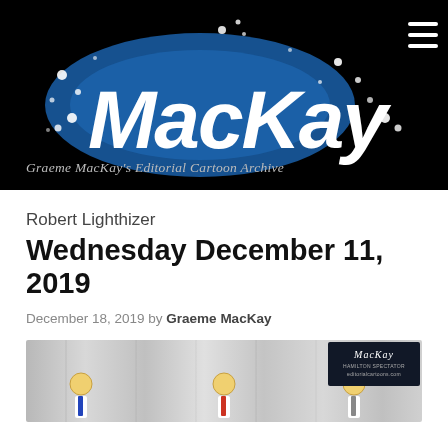[Figure (logo): MacKay editorial cartoon archive logo — white hand-lettered 'MacKay' text on a dark blue/black background with dots and sparkles. Hamburger menu icon in top-right corner.]
Graeme MacKay's Editorial Cartoon Archive
Robert Lighthizer
Wednesday December 11, 2019
December 18, 2019 by Graeme MacKay
[Figure (illustration): Partial view of an editorial cartoon showing three figures in suits with neckties (blue, red, and gray) standing in front of a gray curtained backdrop. A MacKay logo box is visible in the top-right corner of the cartoon.]